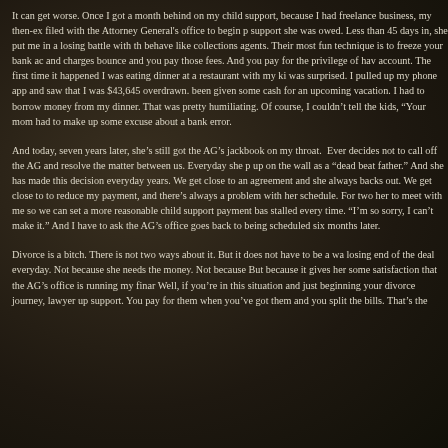It can get worse. Once I got a month behind on my child support, because I had freelance business, my then-ex filed with the Attorney General's office to begin p support she was owed. Less than 45 days in, she put me in a losing battle with th behave like collections agents. Their most fun technique is to freeze your bank ac and charges bounce and you pay those fees. And you pay for the privilege of hav account. The first time it happened I was eating dinner at a restaurant with my ki was surprised. I pulled up my phone app and saw that I was $43,645 overdrawn. been given some cash for an upcoming vacation. I had to borrow money from my dinner. That was pretty humiliating. Of course, I couldn't tell the kids, "Your mom had to make up some excuse about a bank error.
And today, seven years later, she's still got the AG's jackbook on my throat. Ever decides not to call off the AG and resolve the matter between us. Everyday she p up on the wall as a "dead beat father." And she has made this decision everyday years. We get close to an agreement and she always backs out. We get close to to reduce my payment, and there's always a problem with her schedule. For two her to meet with me so we can set a more reasonable child support payment bas stalled every time. "I'm so sorry, I can't make it." And I have to ask the AG's office goes back to being scheduled six months later.
Divorce is a bitch. There is not two ways about it. But it does not have to be a wa losing end of the deal everyday. Not because she needs the money. Not because But because it gives her some satisfaction that the AG's office is running my finar Well, if you're in this situation and just beginning your divorce journey, lawyer up support. You pay for them when you've got them and you split the bills. That's the